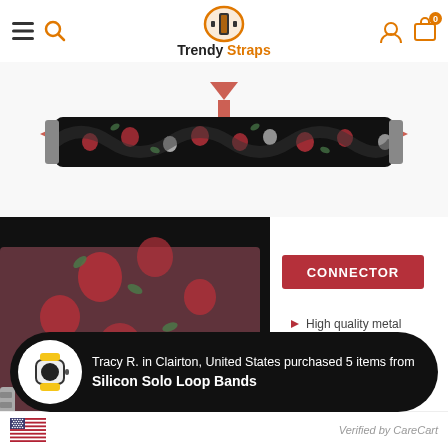[Figure (screenshot): Trendy Straps website header with navigation icons (hamburger menu, search), centered logo with icon, and right-side account and cart icons with badge showing 0]
[Figure (photo): Black floral scrunchie elastic Apple Watch band shown stretched horizontally with red arrows indicating stretch direction, on white background]
[Figure (photo): Close-up of black floral watch band with silver connector visible, with CONNECTOR label badge in red and 'High quality metal' feature text]
[Figure (infographic): Social proof notification bar: Tracy R. in Clairton, United States purchased 5 items from Silicon Solo Loop Bands, with watch icon and US flag, Verified by CareCart watermark]